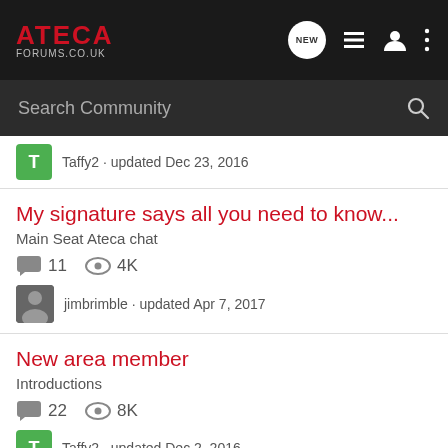ATECA FORUMS.CO.UK
Search Community
Taffy2 · updated Dec 23, 2016
My signature says all you need to know...
Main Seat Ateca chat
11   4K
jimbrimble · updated Apr 7, 2017
New area member
Introductions
22   8K
Taffy2 · updated Dec 2, 2016